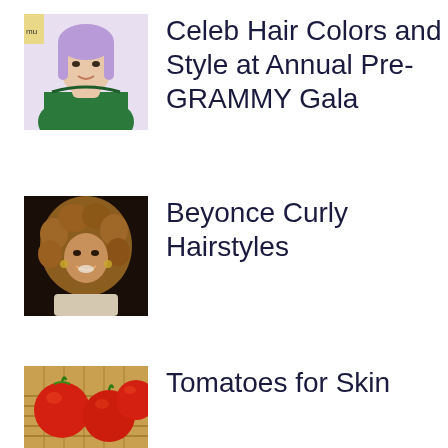[Figure (photo): Celebrity with lavender/purple bob haircut wearing green off-shoulder outfit at Pre-GRAMMY Gala event]
Celeb Hair Colors and Style at Annual Pre-GRAMMY Gala
[Figure (photo): Beyonce with voluminous curly brown hair, smiling, wearing white lace/crochet top]
Beyonce Curly Hairstyles
[Figure (photo): Red tomatoes in a wicker basket]
Tomatoes for Skin